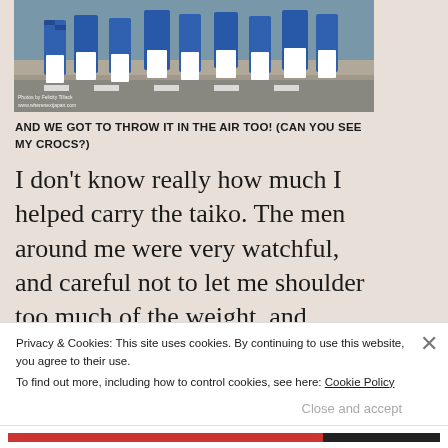[Figure (photo): People in blue and white traditional Japanese festival costumes walking on a street crosswalk, wearing happi coats with checkered blue patterns]
AND WE GOT TO THROW IT IN THE AIR TOO! (CAN YOU SEE MY CROCS?)
I don't know really how much I helped carry the taiko. The men around me were very watchful, and careful not to let me shoulder too much of the weight, and
Privacy & Cookies: This site uses cookies. By continuing to use this website, you agree to their use.
To find out more, including how to control cookies, see here: Cookie Policy